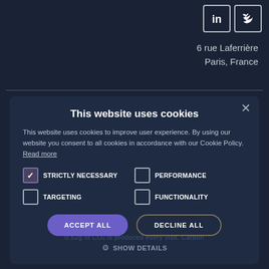[Figure (logo): LinkedIn and another social media icon (white outlined boxes) in top right corner]
6 rue Laferrière
Paris, France
This website uses cookies
This website uses cookies to improve user experience. By using our website you consent to all cookies in accordance with our Cookie Policy. Read more
STRICTLY NECESSARY (checked)
PERFORMANCE (unchecked)
TARGETING (unchecked)
FUNCTIONALITY (unchecked)
ACCEPT ALL
DECLINE ALL
SHOW DETAILS
0.52g of CO₂ is produced every visit. Carbon